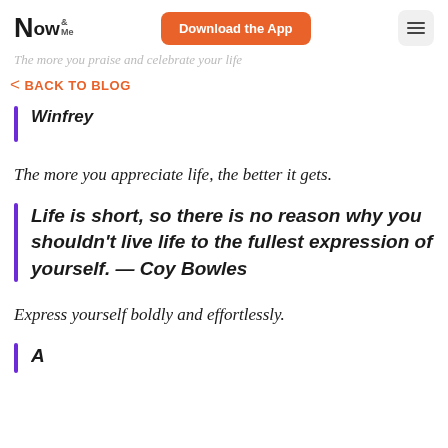Now & Me — Download the App
The more you praise and celebrate your life
< BACK TO BLOG
Winfrey
The more you appreciate life, the better it gets.
Life is short, so there is no reason why you shouldn't live life to the fullest expression of yourself. — Coy Bowles
Express yourself boldly and effortlessly.
A...